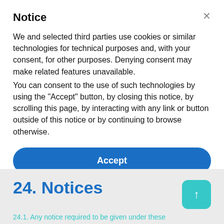Notice
We and selected third parties use cookies or similar technologies for technical purposes and, with your consent, for other purposes. Denying consent may make related features unavailable.
You can consent to the use of such technologies by using the "Accept" button, by closing this notice, by scrolling this page, by interacting with any link or button outside of this notice or by continuing to browse otherwise.
Accept
Learn more and customize
24. Notices
24.1. Any notice required to be given under these